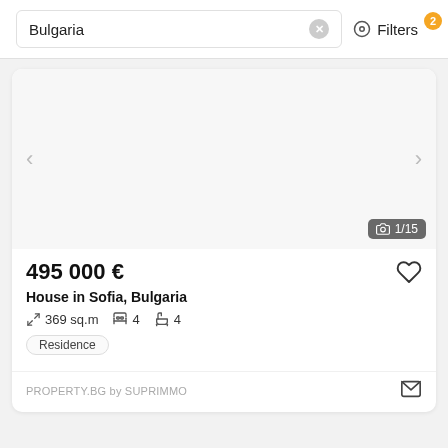Bulgaria
Filters 2
[Figure (screenshot): Property listing card image area, white/light gray background with navigation arrows and photo counter showing 1/15]
495 000 €
House in Sofia, Bulgaria
369 sq.m  4  4
Residence
PROPERTY.BG by SUPRIMMO